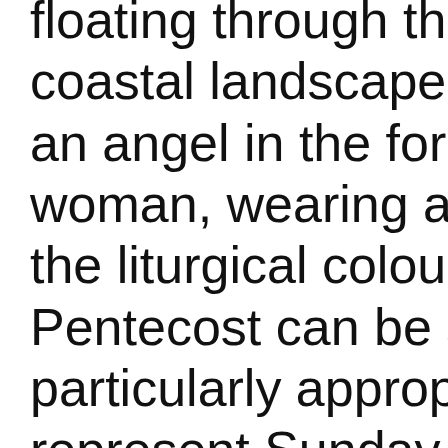floating through the coastal landscape. an angel in the form woman, wearing a r the liturgical colour Pentecost can be se particularly appropri represent Sunday a worship, since in th